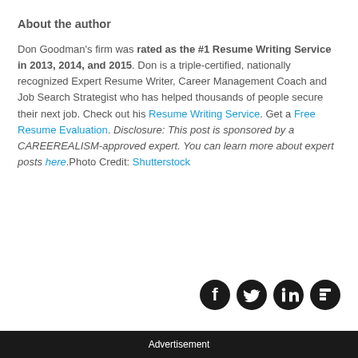About the author
Don Goodman's firm was rated as the #1 Resume Writing Service in 2013, 2014, and 2015. Don is a triple-certified, nationally recognized Expert Resume Writer, Career Management Coach and Job Search Strategist who has helped thousands of people secure their next job. Check out his Resume Writing Service. Get a Free Resume Evaluation. Disclosure: This post is sponsored by a CAREEREALISM-approved expert. You can learn more about expert posts here.Photo Credit: Shutterstock
[Figure (illustration): Four social media icons (Facebook, Twitter, LinkedIn, Flipboard) in black circles]
Advertisement